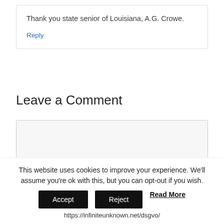Thank you state senior of Louisiana, A.G. Crowe.
Reply
Leave a Comment
This website uses cookies to improve your experience. We'll assume you're ok with this, but you can opt-out if you wish.
Accept   Reject   Read More
https://infiniteunknown.net/dsgvo/